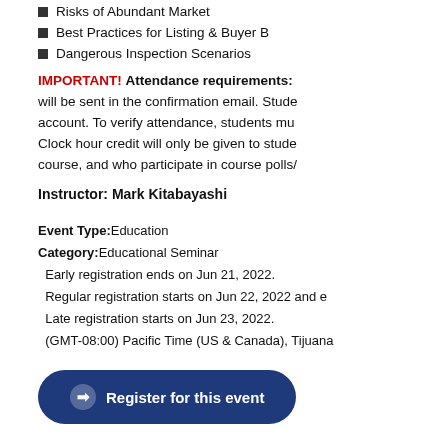Risks of Abundant Market
Best Practices for Listing & Buyer B
Dangerous Inspection Scenarios
IMPORTANT! Attendance requirements: will be sent in the confirmation email. Students must log in with their account. To verify attendance, students must... Clock hour credit will only be given to students who complete the full course, and who participate in course polls/...
Instructor: Mark Kitabayashi
Event Type: Education
Category: Educational Seminar
Early registration ends on Jun 21, 2022.
Regular registration starts on Jun 22, 2022 and e...
Late registration starts on Jun 23, 2022.
(GMT-08:00) Pacific Time (US & Canada), Tijuana
Register for this event